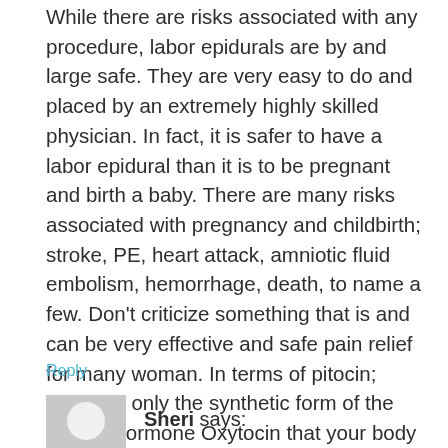While there are risks associated with any procedure, labor epidurals are by and large safe. They are very easy to do and placed by an extremely highly skilled physician. In fact, it is safer to have a labor epidural than it is to be pregnant and birth a baby. There are many risks associated with pregnancy and childbirth; stroke, PE, heart attack, amniotic fluid embolism, hemorrhage, death, to name a few. Don't criticize something that is and can be very effective and safe pain relief for many woman. In terms of pitocin; pitocin is only the synthetic form of the natural hormone Oxytocin that your body produces. Labor hurts whether you have pitocin or not.
Reply
[Figure (illustration): Gray placeholder avatar icon with a light circle in the center]
Sheri says: